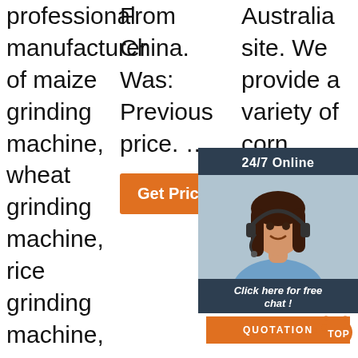professional manufacturer of maize grinding machine, wheat grinding machine, rice grinding machine, corn grinding machine, soybean grinding machine, sorghum grinding machine,
From China. Was: Previous price. …
[Figure (other): Orange 'Get Price' button]
Australia site. We provide a variety of corn grinders online supplemented by relevant accessories and affordable worldwide you can standarded choose the corn grinders wholesale is what we aim for. Enjoy exploring our range of hand
[Figure (other): 24/7 Online chat overlay with a woman wearing a headset, 'Click here for free chat!' text, and QUOTATION button]